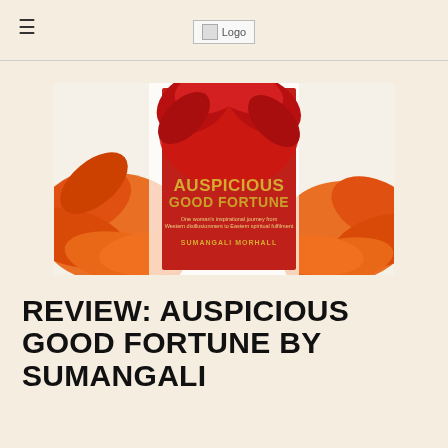Logo
[Figure (illustration): Book cover of 'Auspicious Good Fortune' by Sumangali Morhall, showing a red gerbera daisy background with the book cover prominently displayed. The cover features gold text 'AUSPICIOUS GOOD FORTUNE' and subtitle 'One woman's inspirational journey from Western disillusionment to Eastern spiritual fulfilment' and author name 'SUMANGALI MORHALL']
REVIEW: AUSPICIOUS GOOD FORTUNE BY SUMANGALI